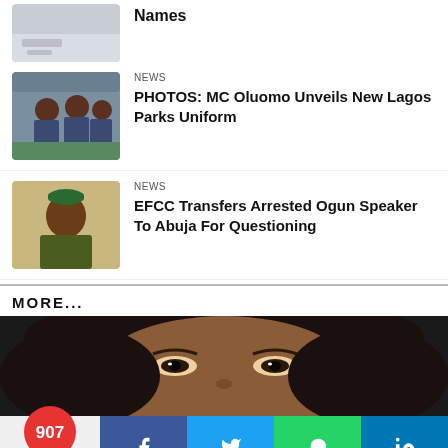[Figure (photo): Partial image at top (light colored floor/surface)]
[Figure (photo): Three men in blue park uniforms standing indoors]
NEWS
PHOTOS: MC Oluomo Unveils New Lagos Parks Uniform
[Figure (photo): Man in traditional attire with green cap]
NEWS
EFCC Transfers Arrested Ogun Speaker To Abuja For Questioning
MORE...
[Figure (photo): Close-up of a woman's face with styled hair]
907 Shares